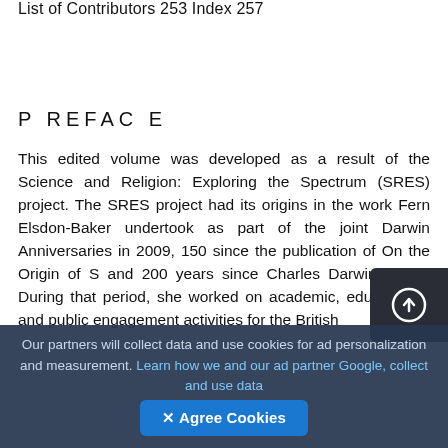List of Contributors 253 Index 257
P REFAC E
This edited volume was developed as a result of the Science and Religion: Exploring the Spectrum (SRES) project. The SRES project had its origins in the work Fern Elsdon-Baker undertook as part of the joint Darwin Anniversaries in 2009, 150 since the publication of On the Origin of S and 200 years since Charles Darwin's birth. During that period, she worked on academic, educational, and public engagement activities for the British